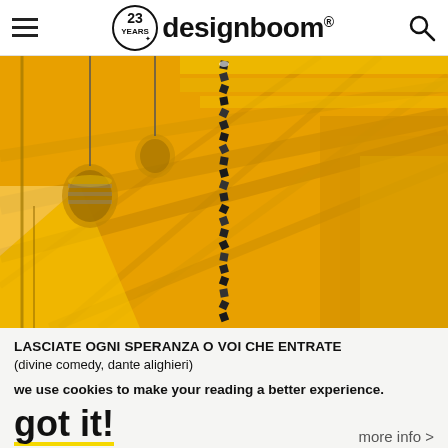designboom® — 23 YEARS
[Figure (photo): Yellow-toned interior architectural photo showing a ceiling with a hanging twisted black metallic sculpture/chain and yellow walls/ceiling panels with lighting]
LASCIATE OGNI SPERANZA O VOI CHE ENTRATE
(divine comedy, dante alighieri)
we use cookies to make your reading a better experience.
got it!
more info >